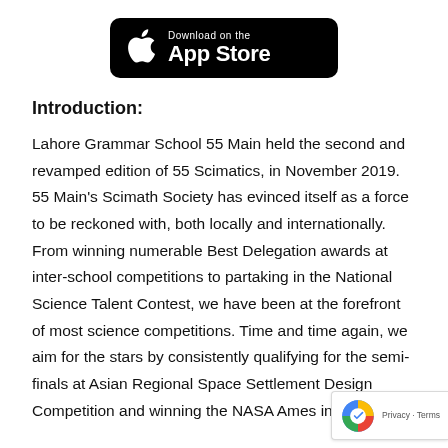[Figure (logo): Download on the App Store badge — black rounded rectangle with Apple logo and text 'Download on the App Store']
Introduction:
Lahore Grammar School 55 Main held the second and revamped edition of 55 Scimatics, in November 2019. 55 Main's Scimath Society has evinced itself as a force to be reckoned with, both locally and internationally. From winning numerable Best Delegation awards at inter-school competitions to partaking in the National Science Talent Contest, we have been at the forefront of most science competitions. Time and time again, we aim for the stars by consistently qualifying for the semi-finals at Asian Regional Space Settlement Design Competition and winning the NASA Ames in 2019.
[Figure (logo): Google reCAPTCHA badge — Privacy · Terms]